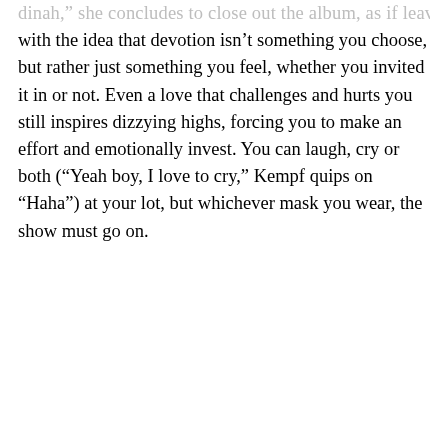dinah,” she concludes to close out the album, as if leaving us with the idea that devotion isn’t something you choose, but rather just something you feel, whether you invited it in or not. Even a love that challenges and hurts you still inspires dizzying highs, forcing you to make an effort and emotionally invest. You can laugh, cry or both (“Yeah boy, I love to cry,” Kempf quips on “Haha”) at your lot, but whichever mask you wear, the show must go on.